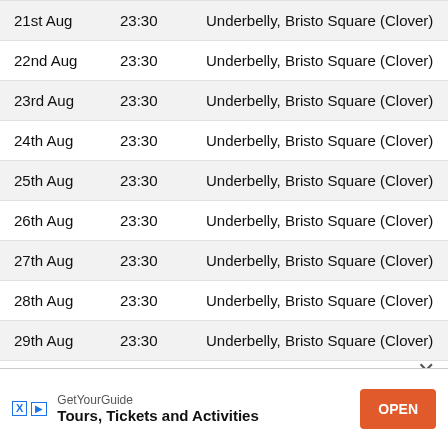| Date | Time | Venue |
| --- | --- | --- |
| 21st Aug | 23:30 | Underbelly, Bristo Square (Clover) |
| 22nd Aug | 23:30 | Underbelly, Bristo Square (Clover) |
| 23rd Aug | 23:30 | Underbelly, Bristo Square (Clover) |
| 24th Aug | 23:30 | Underbelly, Bristo Square (Clover) |
| 25th Aug | 23:30 | Underbelly, Bristo Square (Clover) |
| 26th Aug | 23:30 | Underbelly, Bristo Square (Clover) |
| 27th Aug | 23:30 | Underbelly, Bristo Square (Clover) |
| 28th Aug | 23:30 | Underbelly, Bristo Square (Clover) |
| 29th Aug | 23:30 | Underbelly, Bristo Square (Clover) |
GetYourGuide — Tours, Tickets and Activities — OPEN